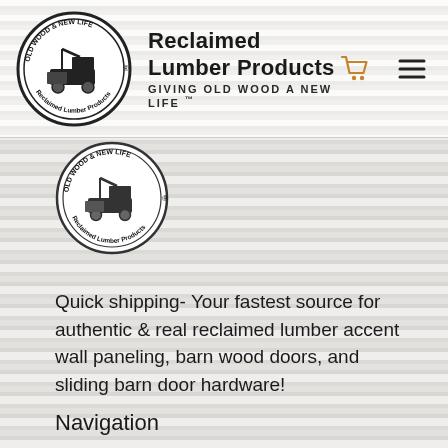Reclaimed Lumber Products — GIVING OLD WOOD A NEW LIFE ™
[Figure (logo): Circular logo for Reclaimed Lumber Products showing a truck/machinery silhouette with text around the border]
[Figure (logo): Second smaller circular logo for Reclaimed Lumber Products, same design as header logo]
Quick shipping- Your fastest source for authentic & real reclaimed lumber accent wall paneling, barn wood doors, and sliding barn door hardware!
Navigation
Sale Products
About
Glossary
Warranty
Articles & Resources